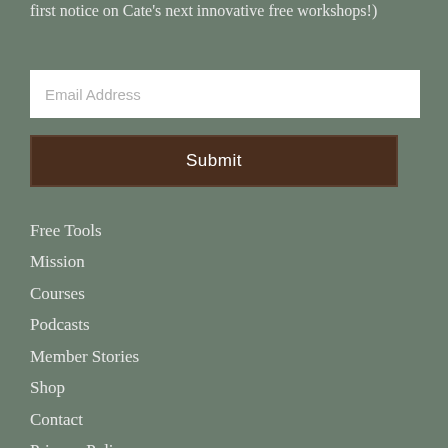first notice on Cate's next innovative free workshops!)
Email Address
Submit
Free Tools
Mission
Courses
Podcasts
Member Stories
Shop
Contact
Privacy Policy
Terms & Conditions